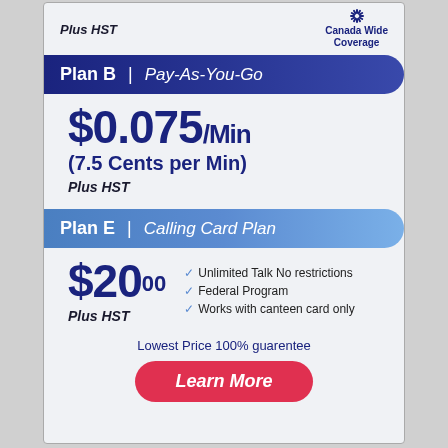Plus HST
Canada Wide Coverage
Plan B | Pay-As-You-Go
$0.075/Min
(7.5 Cents per Min)
Plus HST
Plan E | Calling Card Plan
$20.00
Plus HST
Unlimited Talk No restrictions
Federal Program
Works with canteen card only
Lowest Price 100% guarentee
Learn More